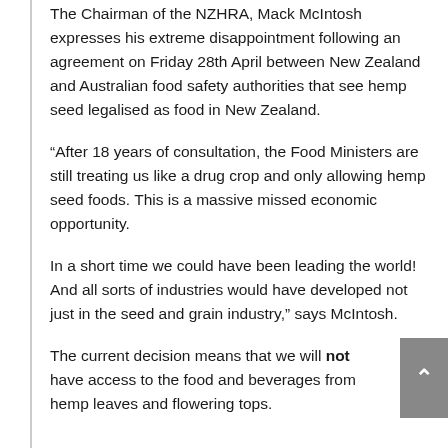The Chairman of the NZHRA, Mack McIntosh expresses his extreme disappointment following an agreement on Friday 28th April between New Zealand and Australian food safety authorities that see hemp seed legalised as food in New Zealand.
“After 18 years of consultation, the Food Ministers are still treating us like a drug crop and only allowing hemp seed foods. This is a massive missed economic opportunity.
In a short time we could have been leading the world!  And all sorts of industries would have developed not just in the seed and grain industry,” says McIntosh.
The current decision means that we will not have access to the food and beverages from hemp leaves and flowering tops.